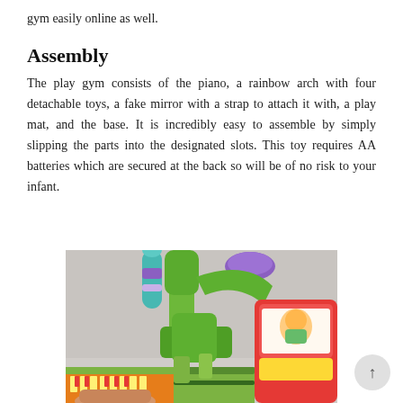gym easily online as well.
Assembly
The play gym consists of the piano, a rainbow arch with four detachable toys, a fake mirror with a strap to attach it with, a play mat, and the base. It is incredibly easy to assemble by simply slipping the parts into the designated slots. This toy requires AA batteries which are secured at the back so will be of no risk to your infant.
[Figure (photo): Close-up photo of a colorful baby play gym being assembled, showing green plastic arch pieces being connected, with purple and teal toy attachments visible at top, and red/yellow/orange toy piano base at right. A person's hand is visible at bottom left holding part of the toy.]